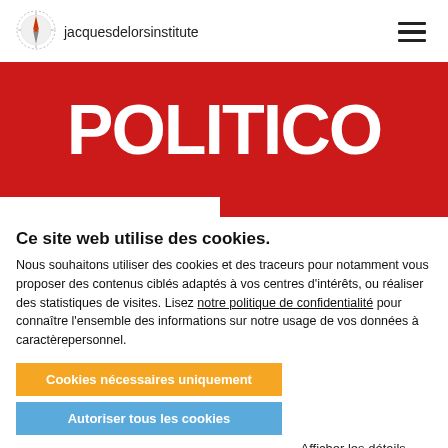jacquesdelorsinstitute
[Figure (logo): Jacques Delors Institute compass logo with orange/red compass rose on white circular background with dotted border]
[Figure (photo): POLITICO logo in large white bold text on red background]
Ce site web utilise des cookies.
Nous souhaitons utiliser des cookies et des traceurs pour notamment vous proposer des contenus ciblés adaptés à vos centres d'intérêts, ou réaliser des statistiques de visites. Lisez notre politique de confidentialité pour connaître l'ensemble des informations sur notre usage de vos données à caractèrepersonnel.
Cookies nécessaires uniquement
Autoriser tous les cookies
Afficher les détails